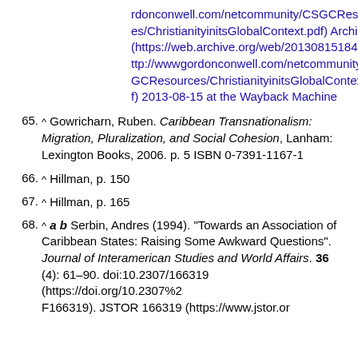rdonconwell.com/netcommunity/CSGCResources/ChristianityinitsGlobalContext.pdf) Archived (https://web.archive.org/web/20130815184022/http://wwwgordonconwell.com/netcommunity/CSGCResources/ChristianityinitsGlobalContext.pdf) 2013-08-15 at the Wayback Machine
65. ^ Gowricharn, Ruben. Caribbean Transnationalism: Migration, Pluralization, and Social Cohesion, Lanham: Lexington Books, 2006. p. 5 ISBN 0-7391-1167-1
66. ^ Hillman, p. 150
67. ^ Hillman, p. 165
68. ^ a b Serbin, Andres (1994). "Towards an Association of Caribbean States: Raising Some Awkward Questions". Journal of Interamerican Studies and World Affairs. 36 (4): 61–90. doi:10.2307/166319 (https://doi.org/10.2307%2F166319). JSTOR 166319 (https://www.jstor.or